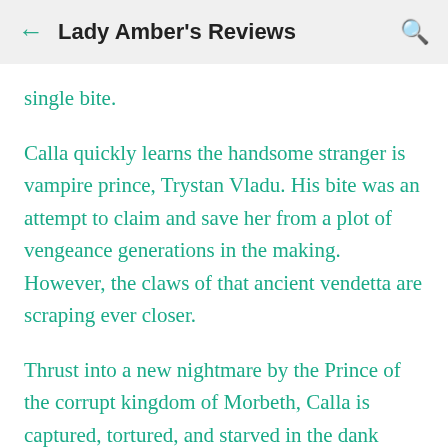Lady Amber's Reviews
single bite.
Calla quickly learns the handsome stranger is vampire prince, Trystan Vladu. His bite was an attempt to claim and save her from a plot of vengeance generations in the making. However, the claws of that ancient vendetta are scraping ever closer.
Thrust into a new nightmare by the Prince of the corrupt kingdom of Morbeth, Calla is captured, tortured, and starved in the dank confines of his